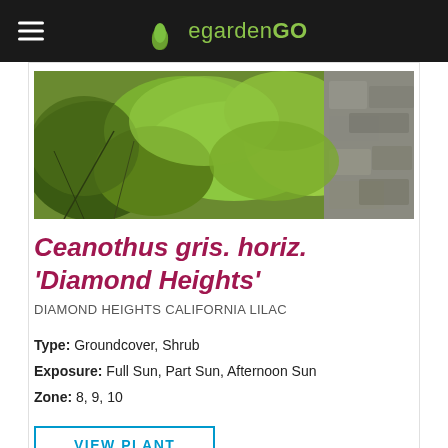egardenGO
[Figure (photo): Photo of Ceanothus gris. horiz. 'Diamond Heights' groundcover plant with green foliage against a stone wall]
Ceanothus gris. horiz. 'Diamond Heights'
DIAMOND HEIGHTS CALIFORNIA LILAC
Type: Groundcover, Shrub
Exposure: Full Sun, Part Sun, Afternoon Sun
Zone: 8, 9, 10
VIEW PLANT